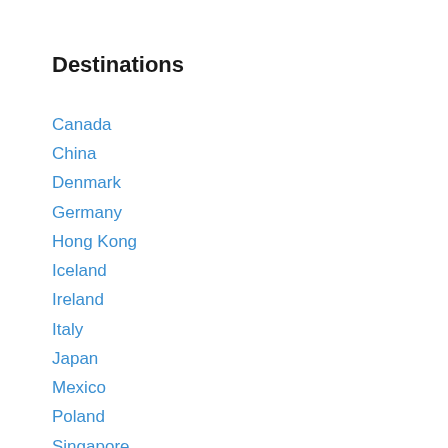Destinations
Canada
China
Denmark
Germany
Hong Kong
Iceland
Ireland
Italy
Japan
Mexico
Poland
Singapore
Sweden
Taiwan